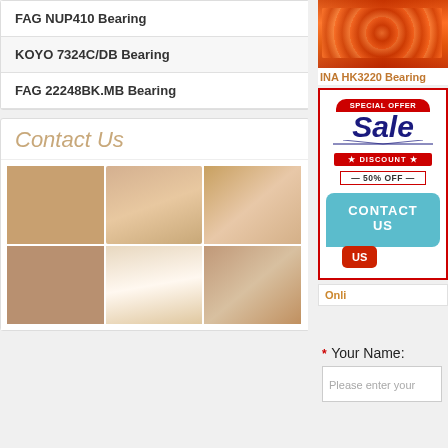FAG NUP410 Bearing
KOYO 7324C/DB Bearing
FAG 22248BK.MB Bearing
Contact Us
[Figure (photo): Grid of 6 photos showing a smiling woman with a headset microphone]
[Figure (photo): Bearings product image in red/orange background]
INA HK3220 Bearing
[Figure (infographic): Special Offer Sale Discount 50% OFF banner with Contact Us bubble]
Onli...
* Your Name:
Please enter your...